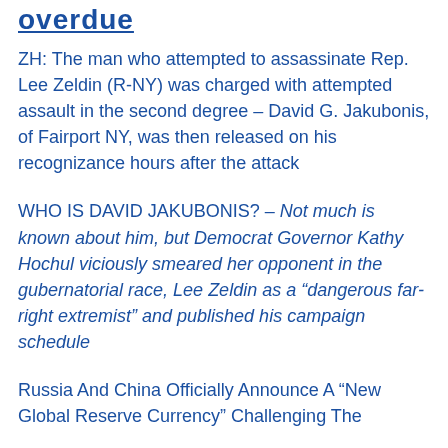overdue
ZH: The man who attempted to assassinate Rep. Lee Zeldin (R-NY) was charged with attempted assault in the second degree – David G. Jakubonis, of Fairport NY, was then released on his recognizance hours after the attack
WHO IS DAVID JAKUBONIS? – Not much is known about him, but Democrat Governor Kathy Hochul viciously smeared her opponent in the gubernatorial race, Lee Zeldin as a “dangerous far-right extremist” and published his campaign schedule
Russia And China Officially Announce A “New Global Reserve Currency” Challenging The